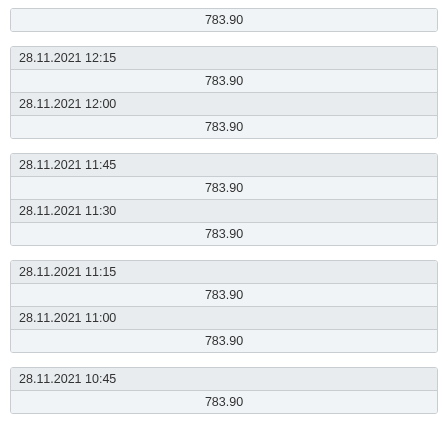| 783.90 |
| 28.11.2021 12:15 |  |
| 783.90 |  |
| 28.11.2021 12:00 |  |
| 783.90 |  |
| 28.11.2021 11:45 |  |
| 783.90 |  |
| 28.11.2021 11:30 |  |
| 783.90 |  |
| 28.11.2021 11:15 |  |
| 783.90 |  |
| 28.11.2021 11:00 |  |
| 783.90 |  |
| 28.11.2021 10:45 |  |
| 783.90 |  |